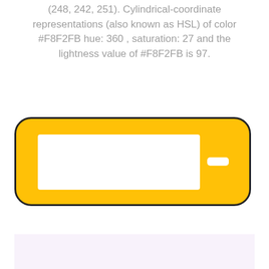(248, 242, 251). Cylindrical-coordinate representations (also known as HSL) of color #F8F2FB hue: 360 , saturation: 27 and the lightness value of #F8F2FB is 97.
[Figure (other): A rounded rectangle UI element with yellow/amber background containing a large white rectangle on the left and a small white pill-shaped rectangle on the right, resembling a form input or license plate display widget with a dark border.]
[Figure (other): A lavender/light purple rectangular color swatch (#F8F2FB) partially visible at the bottom of the page.]